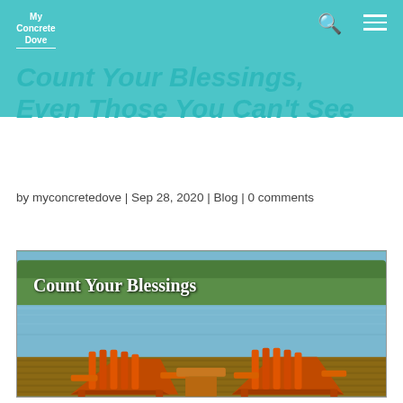My Concrete Dove
Count Your Blessings, Even Those You Can't See
by myconcretedove | Sep 28, 2020 | Blog | 0 comments
[Figure (photo): Two wooden Adirondack chairs on a dock facing a lake with trees in background, with overlay text 'Count Your Blessings']